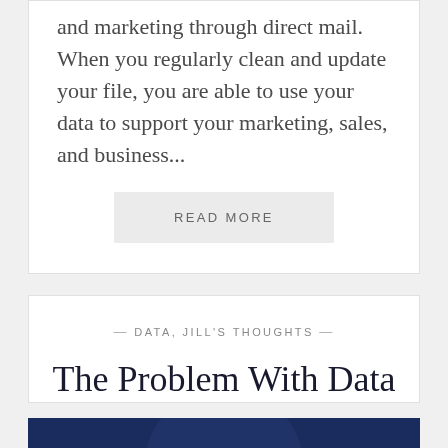and marketing through direct mail. When you regularly clean and update your file, you are able to use your data to support your marketing, sales, and business...
READ MORE
— DATA, JILL'S THOUGHTS —
The Problem With Data
[Figure (illustration): Dark navy blue image block with large white bold text reading 'THE PROBLEM']